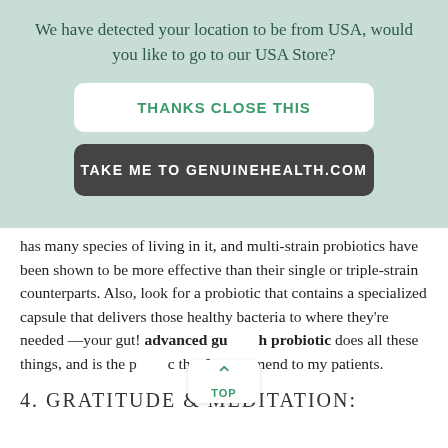We have detected your location to be from USA, would you like to go to our USA Store?
THANKS CLOSE THIS
TAKE ME TO GENUINEHEALTH.COM
has many species of living in it, and multi-strain probiotics have been shown to be more effective than their single or triple-strain counterparts. Also, look for a probiotic that contains a specialized capsule that delivers those healthy bacteria to where they're needed —your gut! advanced gu[t] h probiotic does all these things, and is the p[robio]c that I recommend to my patients.
4. GRATITUDE & MEDITATION: